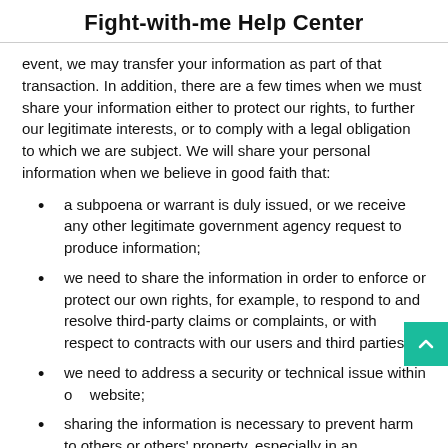Fight-with-me Help Center
event, we may transfer your information as part of that transaction. In addition, there are a few times when we must share your information either to protect our rights, to further our legitimate interests, or to comply with a legal obligation to which we are subject. We will share your personal information when we believe in good faith that:
a subpoena or warrant is duly issued, or we receive any other legitimate government agency request to produce information;
we need to share the information in order to enforce or protect our own rights, for example, to respond to and resolve third-party claims or complaints, or with respect to contracts with our users and third parties;
we need to address a security or technical issue within our website;
sharing the information is necessary to prevent harm to others or others' property, especially in an emergency